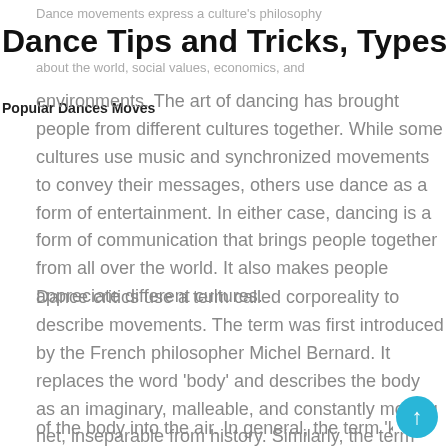Dance movements express a culture's philosophy
Dance Tips and Tricks, Types of Da
about the world, social values, economics, and
Popular Dances Moves
environments. The art of dancing has brought people from different cultures together. While some cultures use music and synchronized movements to convey their messages, others use dance as a form of entertainment. In either case, dancing is a form of communication that brings people together from all over the world. It also makes people appreciate different cultures.
Dance critics use a term called corporeality to describe movements. The term was first introduced by the French philosopher Michel Bernard. It replaces the word 'body' and describes the body as an imaginary, malleable, and constantly moving net, inseparable from history. Similarly, the term 'elevation' means propulsion of the body into the air. In general, the term 'kinsphere